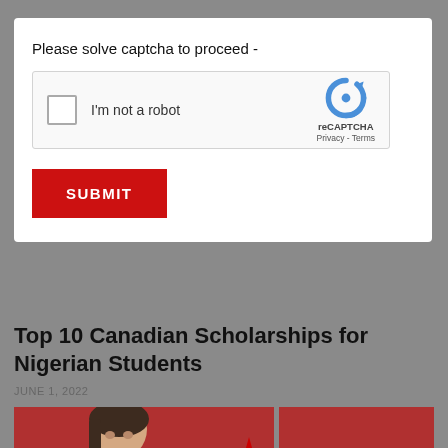Please solve captcha to proceed -
[Figure (screenshot): reCAPTCHA widget with checkbox labeled 'I'm not a robot' and reCAPTCHA logo with Privacy - Terms links]
SUBMIT
Top 10 Canadian Scholarships for Nigerian Students
JUNE 1, 2022
[Figure (photo): Photo of a woman with dark hair on a red background, partially cut off, with a Canadian maple leaf visible in the center]